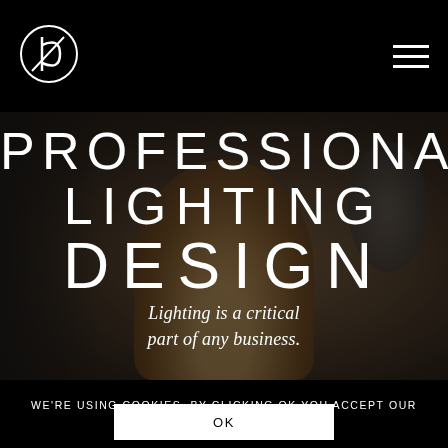[Figure (logo): Circular logo with stylized letters, white on black background]
[Figure (illustration): Hamburger menu icon: three horizontal white lines]
[Figure (photo): Dark background photo of hands holding a vintage brass gauge/instrument, used as hero background]
PROFESSIONAL LIGHTING DESIGN
Lighting is a critical part of any business.
WE'RE USING COOKIES. BY CLICKING OK YOU ACCEPT OUR COOKIE POLICY.
OK